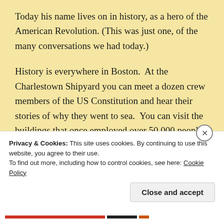Today his name lives on in history, as a hero of the American Revolution. (This was just one, of the many conversations we had today.)
History is everywhere in Boston.  At the Charlestown Shipyard you can meet a dozen crew members of the US Constitution and hear their stories of why they went to sea.  You can visit the buildings that once employed over 50,000 people to support the war effort during WWII.  You can walk the battlegrounds of Breed's Hill where the monument to the Bunker Hill Battle exists today.
Privacy & Cookies: This site uses cookies. By continuing to use this website, you agree to their use.
To find out more, including how to control cookies, see here: Cookie Policy
Close and accept